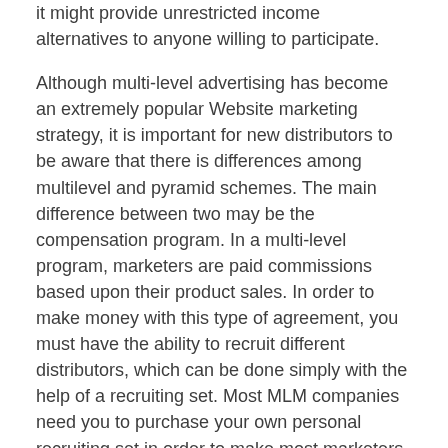it might provide unrestricted income alternatives to anyone willing to participate.
Although multi-level advertising has become an extremely popular Website marketing strategy, it is important for new distributors to be aware that there is differences among multilevel and pyramid schemes. The main difference between two may be the compensation program. In a multi-level program, marketers are paid commissions based upon their product sales. In order to make money with this type of agreement, you must have the ability to recruit different distributors, which can be done simply with the help of a recruiting set. Most MLM companies need you to purchase your own personal recruiting set in order to make most marketers make no your revenue.
In addition , in a pyramid system, new distributors are compensated according to how many others you have recruited. In this case, new distributors do not receive